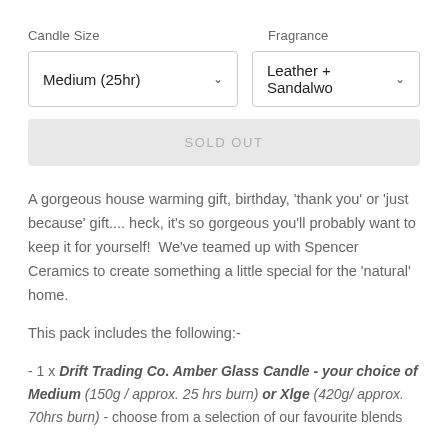Candle Size
Fragrance
Medium (25hr)
Leather + Sandalwo
SOLD OUT
A gorgeous house warming gift, birthday, 'thank you' or 'just because' gift.... heck, it's so gorgeous you'll probably want to keep it for yourself!  We've teamed up with Spencer Ceramics to create something a little special for the 'natural' home.
This pack includes the following:-
- 1 x Drift Trading Co. Amber Glass Candle - your choice of Medium (150g / approx. 25 hrs burn) or Xlge (420g/ approx. 70hrs burn) - choose from a selection of our favourite blends